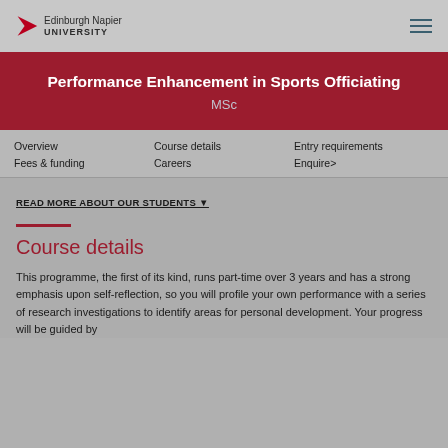Edinburgh Napier University
Performance Enhancement in Sports Officiating MSc
Overview   Course details   Entry requirements   Fees & funding   Careers   Enquire>
READ MORE ABOUT OUR STUDENTS ▼
Course details
This programme, the first of its kind, runs part-time over 3 years and has a strong emphasis upon self-reflection, so you will profile your own performance with a series of research investigations to identify areas for personal development. Your progress will be guided by